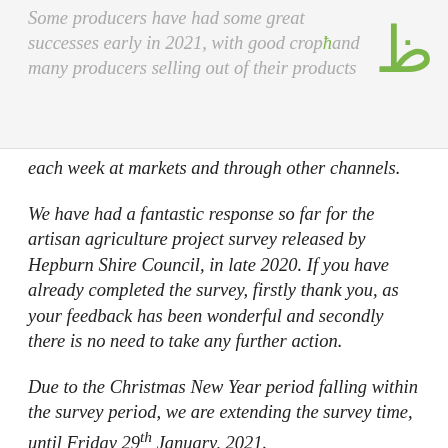Some producers have had some great successes early in 2021, with good crops and many producers selling out of their products each week at markets and through other channels.
each week at markets and through other channels.
We have had a fantastic response so far for the artisan agriculture project survey released by Hepburn Shire Council, in late 2020. If you have already completed the survey, firstly thank you, as your feedback has been wonderful and secondly there is no need to take any further action.
Due to the Christmas New Year period falling within the survey period, we are extending the survey time, until Friday 29th January,2021.
This will hopefully allow enough time for those producers who may need the extra time to find